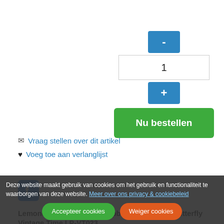[Figure (other): Quantity control buttons: minus button (blue), quantity input field showing 1, plus button (blue), and Nu bestellen (green order button)]
Vraag stellen over dit artikel
Voeg toe aan verlanglijst
[Figure (logo): Facebook logo icon (blue square with white f)]
Lemoncraft One-sided scrapbooking paper - Butterfly Vintage Time LP-VT023
LP-VT023
High-quality paper for scrapbooking and other craft techniques. Perfect for making layouts, albums and greeting cards or invitations. Acid-free and lignin-free, with a weight of 250g, printed on one side in a charming, romantic patterns. Dimensions a single sheet A4 (21x29.7cm). Made in Poland.
Deze website maakt gebruik van cookies om het gebruik en functionaliteit te waarborgen van deze website. Meer over ons privacy & cookiebeleid